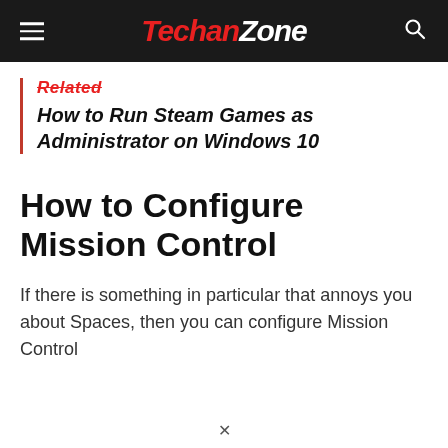TechanZone
Related
How to Run Steam Games as Administrator on Windows 10
How to Configure Mission Control
If there is something in particular that annoys you about Spaces, then you can configure Mission Control to eliminate that, along with other things. You...